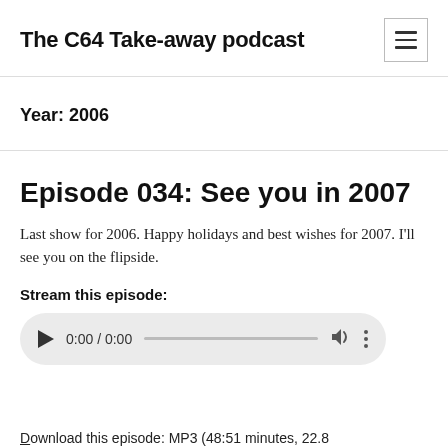The C64 Take-away podcast
Year: 2006
Episode 034: See you in 2007
Last show for 2006. Happy holidays and best wishes for 2007. I'll see you on the flipside.
Stream this episode:
[Figure (other): Audio player widget showing 0:00 / 0:00 with play button, progress bar, volume and more options]
Download this episode: MP3 (48:51 minutes, 22.8...